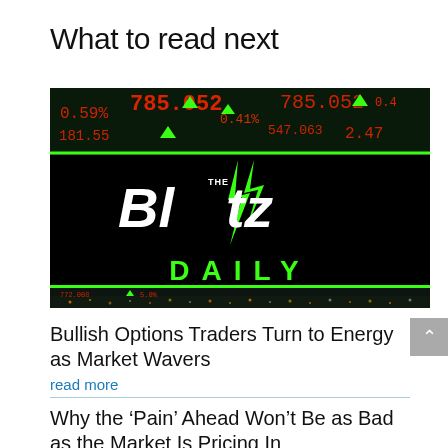What to read next
[Figure (logo): The Blitz Daily banner image with stock ticker background, green lightning bolt, bold italic 'Blitz' in white, 'DAILY' in green, city skyline at bottom]
Bullish Options Traders Turn to Energy as Market Wavers
read more
Why the ‘Pain’ Ahead Won’t Be as Bad as the Market Is Pricing In
read more